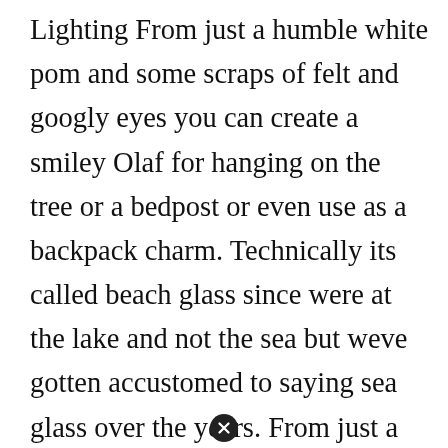Lighting From just a humble white pom and some scraps of felt and googly eyes you can create a smiley Olaf for hanging on the tree or a bedpost or even use as a backpack charm. Technically its called beach glass since were at the lake and not the sea but weve gotten accustomed to saying sea glass over the years. From just a humble white pom and some scraps of felt and googly eyes you can create a smiley Olaf for hanging on the tree or a bedpost or even use as a backpack charm. Christmas Tree